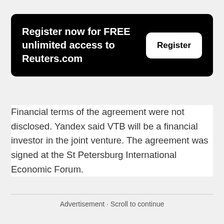[Figure (other): Black banner with text 'Register now for FREE unlimited access to Reuters.com' and a white 'Register' button on the right]
Financial terms of the agreement were not disclosed. Yandex said VTB will be a financial investor in the joint venture. The agreement was signed at the St Petersburg International Economic Forum.
Advertisement · Scroll to continue